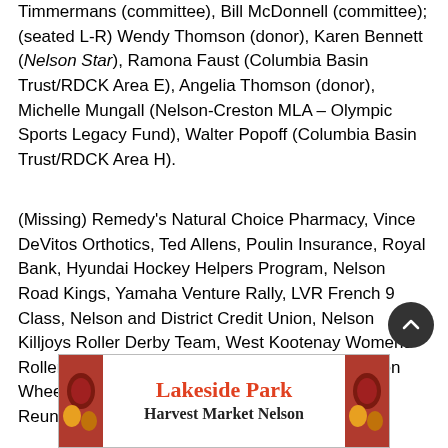Timmermans (committee), Bill McDonnell (committee); (seated L-R) Wendy Thomson (donor), Karen Bennett (Nelson Star), Ramona Faust (Columbia Basin Trust/RDCK Area E), Angelia Thomson (donor), Michelle Mungall (Nelson-Creston MLA – Olympic Sports Legacy Fund), Walter Popoff (Columbia Basin Trust/RDCK Area H).
(Missing) Remedy's Natural Choice Pharmacy, Vince DeVitos Orthotics, Ted Allens, Poulin Insurance, Royal Bank, Hyundai Hockey Helpers Program, Nelson Road Kings, Yamaha Venture Rally, LVR French 9 Class, Nelson and District Credit Union, Nelson Killjoys Roller Derby Team, West Kootenay Womens Roller Derby League, CIBC – Wood Gundy (Simon Wheeldon), Paramedics, Fairview Athletic Club Reunion – Slim Porter Foundation, Columbia...
[Figure (other): Advertisement for Lakeside Park Harvest Market Nelson with decorative fruit imagery on sides]